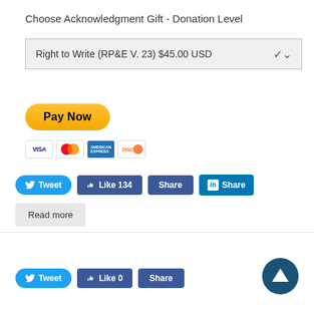Choose Acknowledgment Gift - Donation Level
Right to Write (RP&E V. 23) $45.00 USD
[Figure (other): PayPal Pay Now button with credit card icons (Visa, Mastercard, Amex, Discover)]
[Figure (other): Social sharing buttons row: Tweet, Like 134, Share (Facebook), Share (LinkedIn)]
Read more
[Figure (other): Social sharing buttons row: Tweet, Like 0, Share (Facebook)]
[Figure (other): Dark blue circle with upward triangle arrow (scroll to top button)]